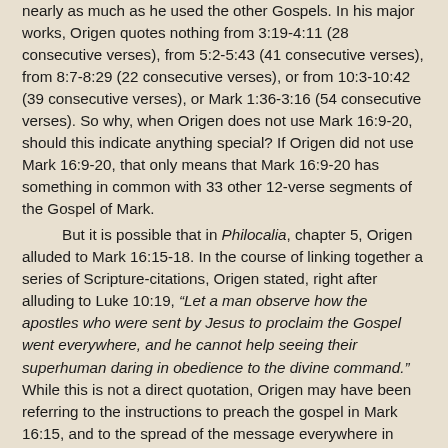nearly as much as he used the other Gospels. In his major works, Origen quotes nothing from 3:19-4:11 (28 consecutive verses), from 5:2-5:43 (41 consecutive verses), from 8:7-8:29 (22 consecutive verses), or from 10:3-10:42 (39 consecutive verses), or Mark 1:36-3:16 (54 consecutive verses). So why, when Origen does not use Mark 16:9-20, should this indicate anything special? If Origen did not use Mark 16:9-20, that only means that Mark 16:9-20 has something in common with 33 other 12-verse segments of the Gospel of Mark.
But it is possible that in Philocalia, chapter 5, Origen alluded to Mark 16:15-18. In the course of linking together a series of Scripture-citations, Origen stated, right after alluding to Luke 10:19, “Let a man observe how the apostles who were sent by Jesus to proclaim the Gospel went everywhere, and he cannot help seeing their superhuman daring in obedience to the divine command.” While this is not a direct quotation, Origen may have been referring to the instructions to preach the gospel in Mark 16:15, and to the spread of the message everywhere in 16:20, and to the apparently daring actions described in 16:18. The thematic parallel between Luke 10:19 and Mark 16:18 renders this a